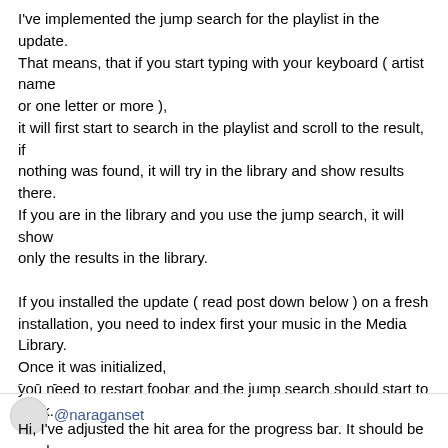I've implemented the jump search for the playlist in the update. That means, that if you start typing with your keyboard ( artist name or one letter or more ), it will first start to search in the playlist and scroll to the result, if nothing was found, it will try in the library and show results there. If you are in the library and you use the jump search, it will show only the results in the library.

If you installed the update ( read post down below ) on a fresh installation, you need to index first your music in the Media Library. Once it was initialized, you need to restart foobar and the jump search should start to work.
- - -
@naraganset
Hi, I've adjusted the hit area for the progress bar. It should be much better now and you should not have any miss clicks.